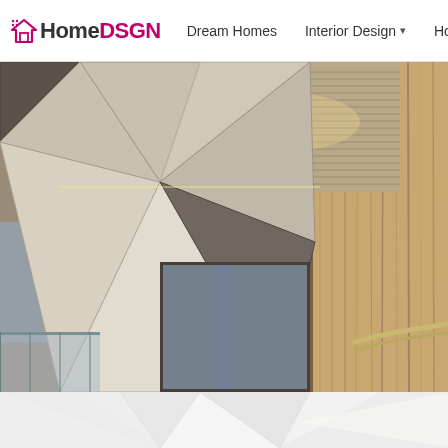HomeDSGN  Dream Homes  Interior Design  Hou
[Figure (photo): Interior architectural photo showing a geometric faceted ceiling and wall design with wood paneling. The ceiling features triangular panels in white/grey and textured mesh/grille sections with warm lighting. Large natural wood columns/walls are visible on the right. Stainless steel handrails are visible at bottom right, and glass railings at bottom left. The space appears to be a modern building interior with dramatic angular design elements.]
[Figure (photo): Bottom partial view showing white geometric faceted surface, likely floor or lower wall continuation of the main architectural photo.]